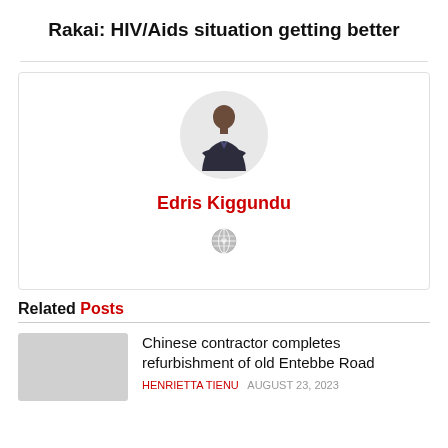Rakai: HIV/Aids situation getting better
[Figure (photo): Author profile card for Edris Kiggundu, showing a circular portrait photo of a man in a dark suit with arms crossed, the author's name in red, and a small globe/world icon below.]
Related Posts
Chinese contractor completes refurbishment of old Entebbe Road